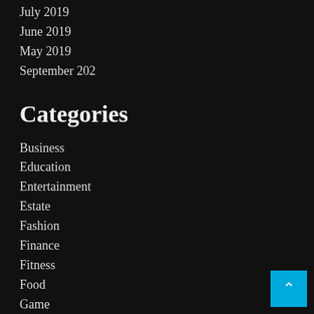July 2019
June 2019
May 2019
September 202
Categories
Business
Education
Entertainment
Estate
Fashion
Finance
Fitness
Food
Game
Health
Home Improvement